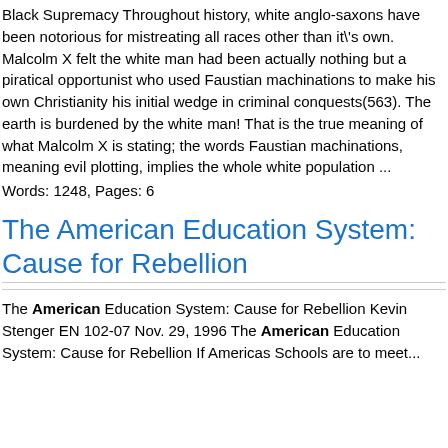Black Supremacy Throughout history, white anglo-saxons have been notorious for mistreating all races other than it's own. Malcolm X felt the white man had been actually nothing but a piratical opportunist who used Faustian machinations to make his own Christianity his initial wedge in criminal conquests(563). The earth is burdened by the white man! That is the true meaning of what Malcolm X is stating; the words Faustian machinations, meaning evil plotting, implies the whole white population ...
Words: 1248, Pages: 6
The American Education System: Cause for Rebellion
The American Education System: Cause for Rebellion Kevin Stenger EN 102-07 Nov. 29, 1996 The American Education System: Cause for Rebellion If Americas Schools are to meet...